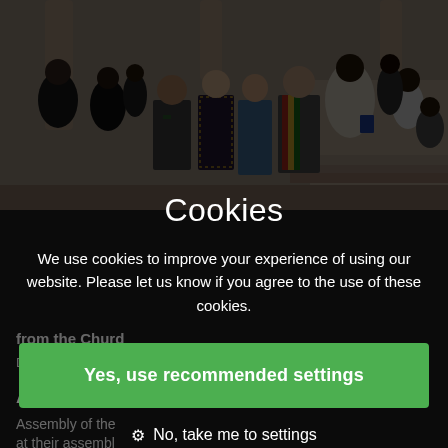[Figure (photo): Group photo of approximately 12 people standing in front of a building with columns. The group includes people of diverse backgrounds, some wearing traditional Ghanaian kente cloth, clerical attire, and Western business clothing. The photo appears to be taken at a church or official building.]
Cookies
We use cookies to improve your experience of using our website. Please let us know if you agree to the use of these cookies.
Yes, use recommended settings
No, take me to settings